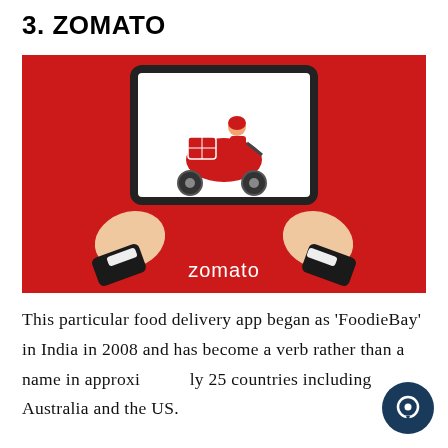3. ZOMATO
[Figure (illustration): Illustration on a red background showing two hands holding a tablet device. On the tablet screen is a cartoon delivery person riding a red scooter with a food delivery box. Below the tablet, centered on the red background, is the word 'zomato' in white text.]
This particular food delivery app began as 'FoodieBay' in India in 2008 and has become a verb rather than a name in approximately 25 countries including Australia and the US.